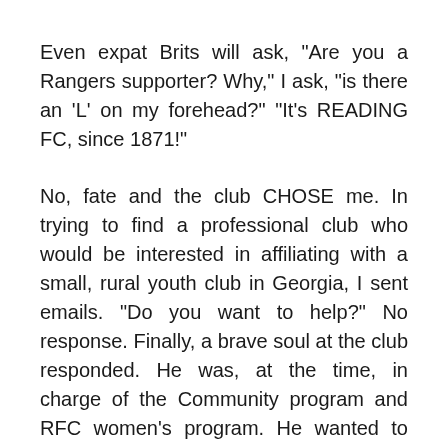Even expat Brits will ask, "Are you a Rangers supporter? Why," I ask, "is there an 'L' on my forehead?" "It's READING FC, since 1871!"
No, fate and the club CHOSE me. In trying to find a professional club who would be interested in affiliating with a small, rural youth club in Georgia, I sent emails. "Do you want to help?" No response. Finally, a brave soul at the club responded. He was, at the time, in charge of the Community program and RFC women's program. He wanted to see what would happen if a club like Reading, formed so many decades ago, a true founder of club football, reached out to this little youth club. He was eagerly received, visited, conducted